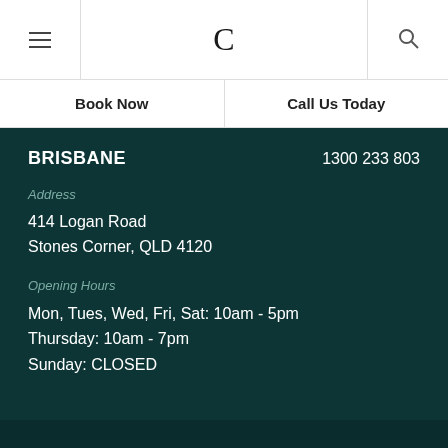[Figure (screenshot): Navigation bar with hamburger menu icon on the left, serif letter C logo in center, and search icon on the right]
Book Now | Call Us Today
BRISBANE    1300 233 803
Address
414 Logan Road
Stones Corner, QLD 4120
Opening Hours
Mon, Tues, Wed, Fri, Sat: 10am - 5pm
Thursday: 10am - 7pm
Sunday: CLOSED